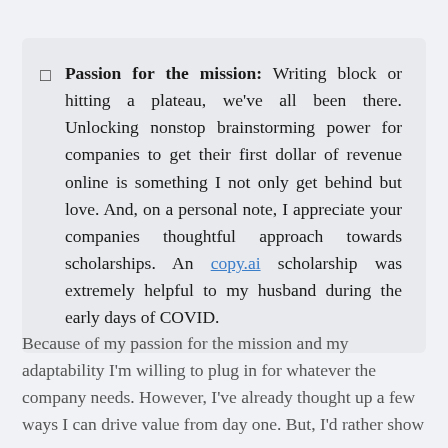Passion for the mission: Writing block or hitting a plateau, we've all been there. Unlocking nonstop brainstorming power for companies to get their first dollar of revenue online is something I not only get behind but love. And, on a personal note, I appreciate your companies thoughtful approach towards scholarships. An copy.ai scholarship was extremely helpful to my husband during the early days of COVID.
Because of my passion for the mission and my adaptability I'm willing to plug in for whatever the company needs. However, I've already thought up a few ways I can drive value from day one. But, I'd rather show